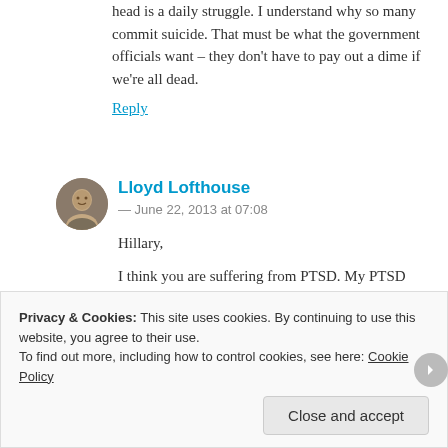head is a daily struggle. I understand why so many commit suicide. That must be what the government officials want – they don't have to pay out a dime if we're all dead.
Reply
Lloyd Lofthouse
— June 22, 2013 at 07:08
Hillary,
I think you are suffering from PTSD. My PTSD comes from Vietnam and combat.
Privacy & Cookies: This site uses cookies. By continuing to use this website, you agree to their use. To find out more, including how to control cookies, see here: Cookie Policy
Close and accept